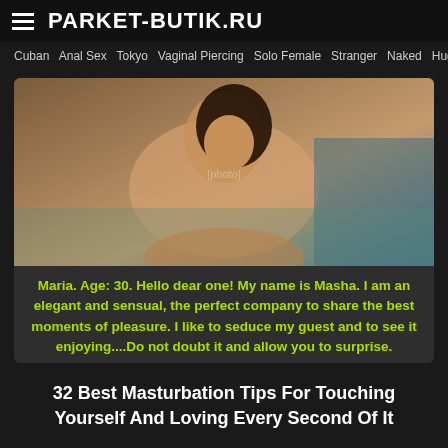PARKET-BUTIK.RU
Cuban  Anal Sex  Tokyo  Vaginal Piercing  Solo Female  Stranger  Naked  Huge  Hunk
[Figure (photo): Photo of a woman posing outdoors near water]
Maria. Age: 30. Hello dear one! My name is Masha. I am an elegant and sensual, the perfect company to share the best moments of pleasure. I like to seduce my guest and to see it enjoying....Do not doubt it and allow you to surprise.
32 Best Masturbation Tips For Touching Yourself And Loving Every Second Of It